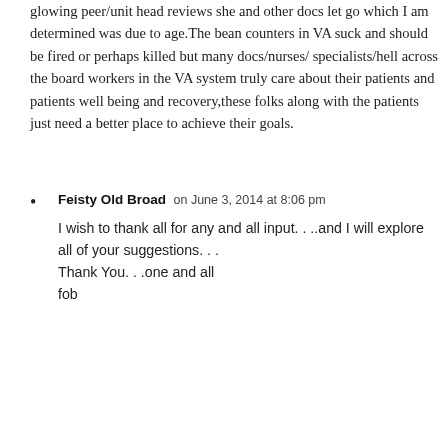glowing peer/unit head reviews she and other docs let go which I am determined was due to age.The bean counters in VA suck and should be fired or perhaps killed but many docs/nurses/ specialists/hell across the board workers in the VA system truly care about their patients and patients well being and recovery,these folks along with the patients just need a better place to achieve their goals.
Feisty Old Broad on June 3, 2014 at 8:06 pm
I wish to thank all for any and all input. . ..and I will explore all of your suggestions. . .
Thank You. . .one and all
fob